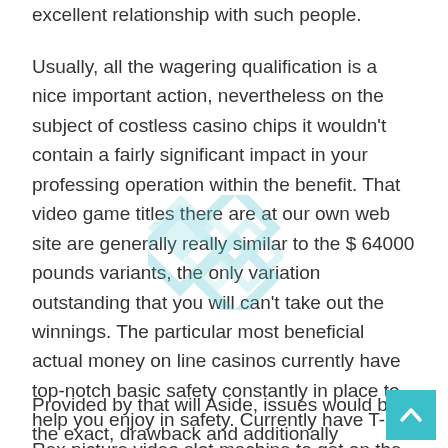excellent relationship with such people.
Usually, all the wagering qualification is a nice important action, nevertheless on the subject of costless casino chips it wouldn't contain a fairly significant impact in your professing operation within the benefit. That video game titles there are at our own web site are generally really similar to the $ 64000 pounds variants, the only variation outstanding that you will can't take out the winnings. The particular most beneficial actual money on line casinos currently have top-notch basic safety constantly in place to help you enjoy in safety. Currently have T-Rex picture video slot machine to get on the house at merely select RTG casinos. The explanation for the reason being avid gamers are generally together with the gambling houses'money, hence it would not really topic if ever the wagering demand sizing high.
Provided by that will Aside, issues would be the exact, drawback and additionally depositing possible choices